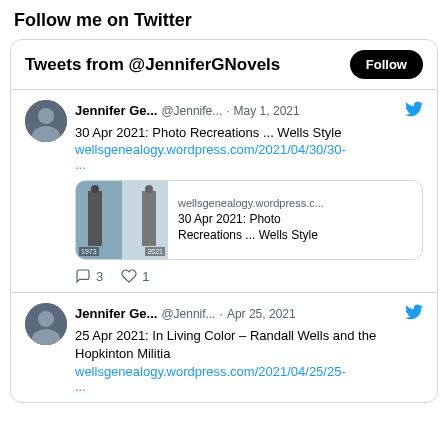Follow me on Twitter
Tweets from @JenniferGNovels
Jennifer Ge... @Jennife... · May 1, 2021
30 Apr 2021: Photo Recreations ... Wells Style
wellsgenealogy.wordpress.com/2021/04/30/30-
...
[link preview: wellsgenealogy.wordpress.c... / 30 Apr 2021: Photo Recreations ... Wells Style]
◯ 3  ♡ 1
Jennifer Ge... @Jennif... · Apr 25, 2021
25 Apr 2021: In Living Color – Randall Wells and the Hopkinton Militia
wellsgenealogy.wordpress.com/2021/04/25/25-
...